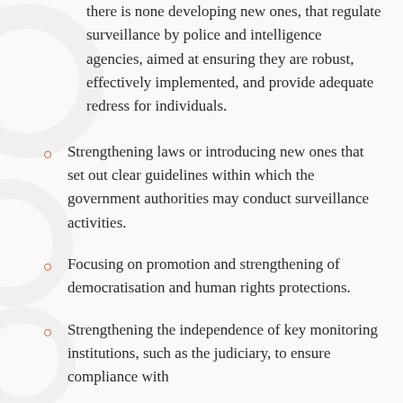there is none developing new ones, that regulate surveillance by police and intelligence agencies, aimed at ensuring they are robust, effectively implemented, and provide adequate redress for individuals.
Strengthening laws or introducing new ones that set out clear guidelines within which the government authorities may conduct surveillance activities.
Focusing on promotion and strengthening of democratisation and human rights protections.
Strengthening the independence of key monitoring institutions, such as the judiciary, to ensure compliance with [continues]